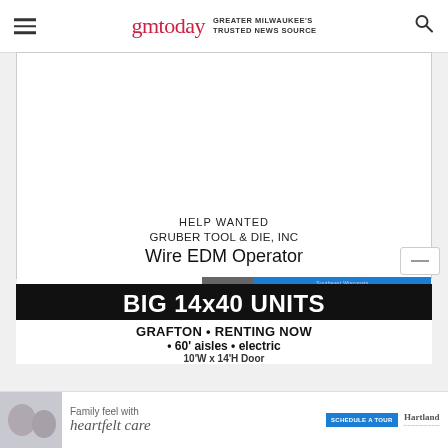gmtoday GREATER MILWAUKEE'S TRUSTED NEWS SOURCE
[Figure (infographic): Help Wanted job advertisement for Gruber Tool & Die, Inc - Wire EDM Operator position, with a 'SEE MORE JOBS' banner linking to Southeast Wisconsin Careers.com]
[Figure (infographic): Storage unit advertisement: BIG 14x40 UNITS, GRAFTON • RENTING NOW • 60' aisles • electric, with additional size information]
[Figure (infographic): Hartland assisted living advertisement: Family feel with heartfelt care, with Schedule a Tour button and Hartland logo]